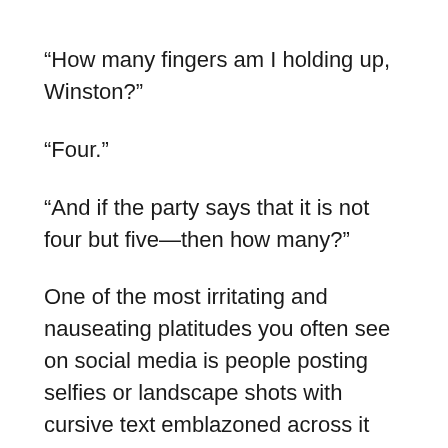“How many fingers am I holding up, Winston?”
“Four.”
“And if the party says that it is not four but five—then how many?”
One of the most irritating and nauseating platitudes you often see on social media is people posting selfies or landscape shots with cursive text emblazoned across it that reads, “I’m living MY truth!”
Like most platitudes, it’s a statement that’s completely empty and shallow (sort of like the people that post such nonsense). What does